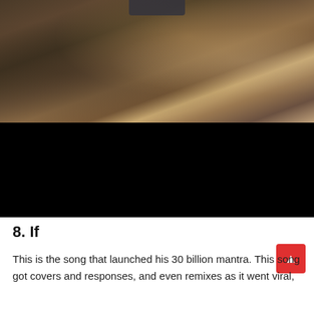[Figure (photo): A video screenshot showing the top half with a person wearing a dark green jacket with long hair partially visible, with a brownish bokeh background on the right; the bottom half of the video frame is black (video player area).]
8. If
This is the song that launched his 30 billion mantra. This song got covers and responses, and even remixes as it went viral,